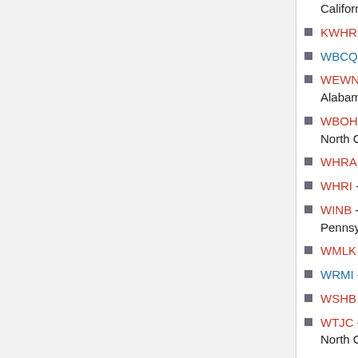California
KWHR - "World Harvest Radio" - Naalehu, Hawaii
WBCQ - "The Planet" - Monticello, Maine
WEWN - "EWTN - Eternal Word Network" - Irondale, Alabama
WBOH - Fundamental Broadcasting Network - Newport, North Carolina
WHRA - "World Harvest Radio" - Greenbush, Maine
WHRI - "World Harvest Radio" - Noblesville, Indiana
WINB - "World International Broadcasting" - Red Lion, Pennsylvania
WMLK - Assemblies of Yahweh - Bethel, Pennsylvania
WRMI - "Radio Miami International" - Miami, Florida
WSHB - Furman, South Carolina
WTJC - Fundamental Broadcasting Network - Newport, North Carolina
WTWW - Lebanon, Tennessee
WWCR - "Worldwide Christian Radio"